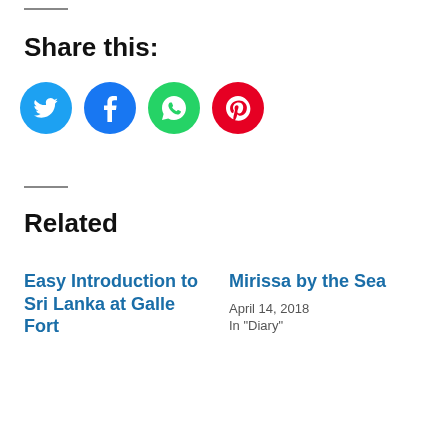Share this:
[Figure (infographic): Four social media share icons: Twitter (blue), Facebook (dark blue), WhatsApp (green), Pinterest (red)]
Related
Easy Introduction to Sri Lanka at Galle Fort
Mirissa by the Sea
April 14, 2018
In "Diary"